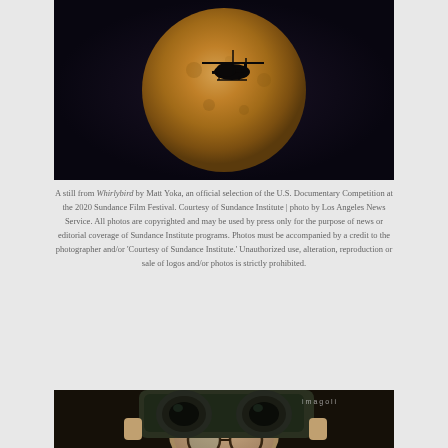[Figure (photo): A still photograph showing a helicopter silhouette flying in front of a large full orange/golden moon against a dark night sky background.]
A still from Whirlybird by Matt Yoka, an official selection of the U.S. Documentary Competition at the 2020 Sundance Film Festival. Courtesy of Sundance Institute | photo by Los Angeles News Service. All photos are copyrighted and may be used by press only for the purpose of news or editorial coverage of Sundance Institute programs. Photos must be accompanied by a credit to the photographer and/or 'Courtesy of Sundance Institute.' Unauthorized use, alteration, reproduction or sale of logos and/or photos is strictly prohibited.
[Figure (photo): A person looking through large binoculars or a camera viewfinder, wearing glasses, with dark/green equipment visible. Text 'imagoli' is visible on the equipment.]